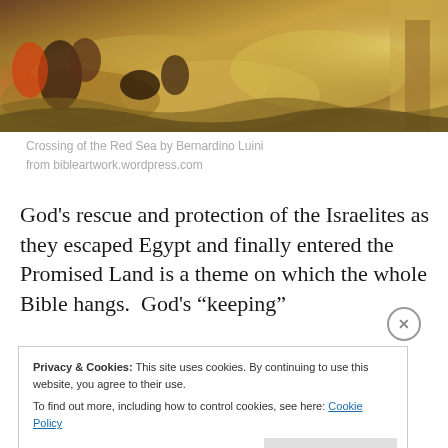[Figure (illustration): Painting: Crossing of the Red Sea by Bernardino Luini — dramatic scene with figures on horseback and in water, waves, and golden/ochre tones with heavenly light on right side.]
Crossing of the Red Sea by Bernardino Luini
from bibleartwork.wordpress.com
God’s rescue and protection of the Israelites as they escaped Egypt and finally entered the Promised Land is a theme on which the whole Bible hangs.  God’s “keeping”
Privacy & Cookies: This site uses cookies. By continuing to use this website, you agree to their use.
To find out more, including how to control cookies, see here: Cookie Policy